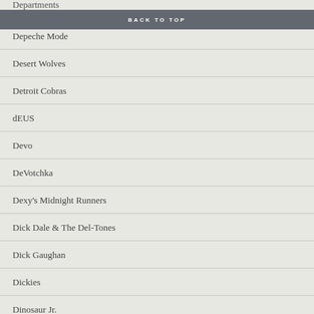Departments
BACK TO TOP
Depeche Mode
Desert Wolves
Detroit Cobras
dEUS
Devo
DeVotchka
Dexy's Midnight Runners
Dick Dale & The Del-Tones
Dick Gaughan
Dickies
Dinosaur Jr.
Disposable Heroes of Hiphoprisy